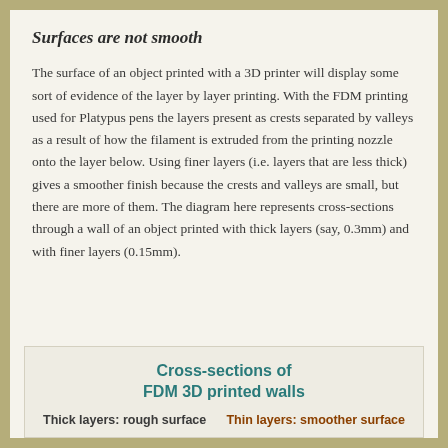Surfaces are not smooth
The surface of an object printed with a 3D printer will display some sort of evidence of the layer by layer printing. With the FDM printing used for Platypus pens the layers present as crests separated by valleys as a result of how the filament is extruded from the printing nozzle onto the layer below. Using finer layers (i.e. layers that are less thick) gives a smoother finish because the crests and valleys are small, but there are more of them. The diagram here represents cross-sections through a wall of an object printed with thick layers (say, 0.3mm) and with finer layers (0.15mm).
[Figure (infographic): Diagram box showing 'Cross-sections of FDM 3D printed walls' with two labels: 'Thick layers: rough surface' on the left and 'Thin layers: smoother surface' on the right]